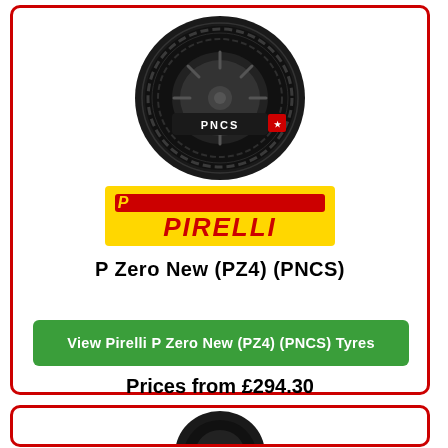[Figure (photo): Pirelli P Zero New (PZ4) PNCS tyre product image, black tyre with PNCS logo on sidewall, top view]
[Figure (logo): Pirelli logo on yellow background with red text]
P Zero New (PZ4) (PNCS)
View Pirelli P Zero New (PZ4) (PNCS) Tyres
Prices from £294.30
[Figure (photo): Partial tyre image at bottom of page in second card]